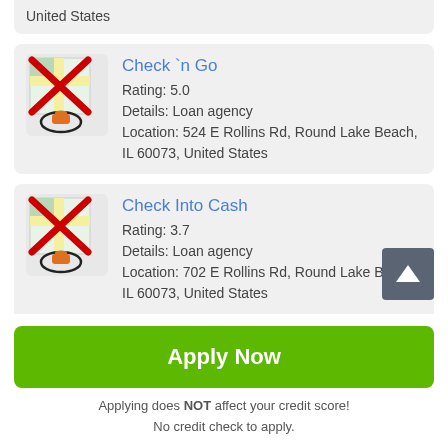United States
Check `n Go
Rating: 5.0
Details: Loan agency
Location: 524 E Rollins Rd, Round Lake Beach, IL 60073, United States
Check Into Cash
Rating: 3.7
Details: Loan agency
Location: 702 E Rollins Rd, Round Lake Beach, IL 60073, United States
Apply Now
Applying does NOT affect your credit score!
No credit check to apply.